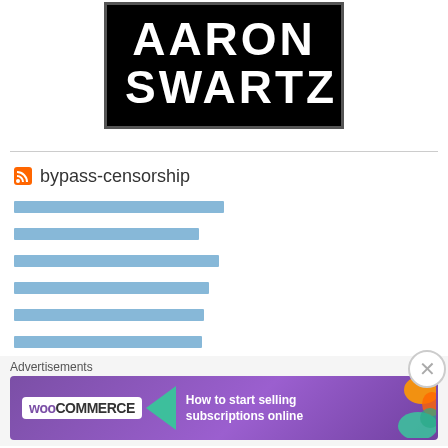[Figure (logo): Aaron Swartz logo: white bold text 'AARON SWARTZ' on black background with dark border]
bypass-censorship
[Thai/encoded link 1]
[Thai/encoded link 2]
[Thai/encoded link 3]
[Thai/encoded link 4]
[Thai/encoded link 5]
[Thai/encoded link 6]
[Figure (illustration): WooCommerce advertisement banner: 'How to start selling subscriptions online' with WooCommerce logo on purple background]
Advertisements